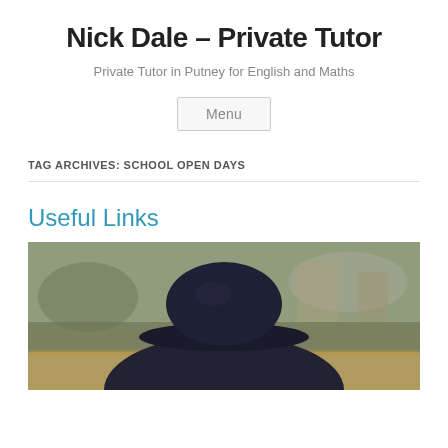Nick Dale – Private Tutor
Private Tutor in Putney for English and Maths
Menu
TAG ARCHIVES: SCHOOL OPEN DAYS
Useful Links
[Figure (photo): A person wearing a dark navy bowler hat, photographed outdoors. The background is blurred showing an outdoor scene.]